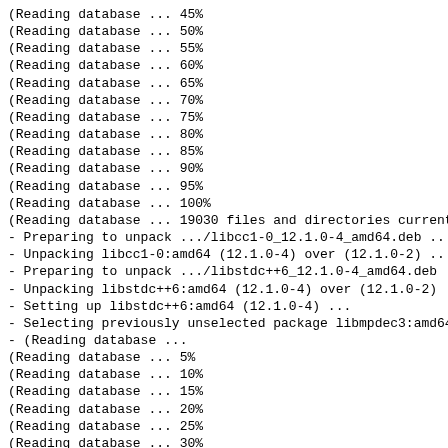(Reading database ... 45%
(Reading database ... 50%
(Reading database ... 55%
(Reading database ... 60%
(Reading database ... 65%
(Reading database ... 70%
(Reading database ... 75%
(Reading database ... 80%
(Reading database ... 85%
(Reading database ... 90%
(Reading database ... 95%
(Reading database ... 100%
(Reading database ... 19030 files and directories current
- Preparing to unpack .../libcc1-0_12.1.0-4_amd64.deb ..
- Unpacking libcc1-0:amd64 (12.1.0-4) over (12.1.0-2) ..
- Preparing to unpack .../libstdc++6_12.1.0-4_amd64.deb
- Unpacking libstdc++6:amd64 (12.1.0-4) over (12.1.0-2)
- Setting up libstdc++6:amd64 (12.1.0-4) ...
- Selecting previously unselected package libmpdec3:amd64
- (Reading database ...
(Reading database ... 5%
(Reading database ... 10%
(Reading database ... 15%
(Reading database ... 20%
(Reading database ... 25%
(Reading database ... 30%
(Reading database ... 35%
(Reading database ... 40%
(Reading database ... 45%
(Reading database ... 50%